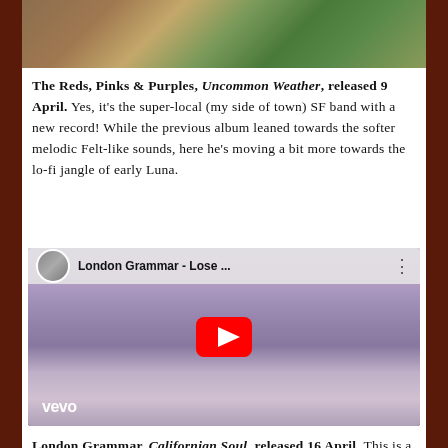[Figure (photo): Top portion of a photo showing people, partially cropped at the top of the page]
The Reds, Pinks & Purples, Uncommon Weather, released 9 April. Yes, it's the super-local (my side of town) SF band with a new record! While the previous album leaned towards the softer melodic Felt-like sounds, here he's moving a bit more towards the lo-fi jangle of early Luna.
[Figure (screenshot): YouTube embed showing London Grammar - Lose ... video with a woman in a sparkly outfit dancing, YouTube play button overlay, vevo logo in bottom left]
London Grammar, Californian Soul, released 16 April. This is a band that's kind of tough to describe other than perhaps a